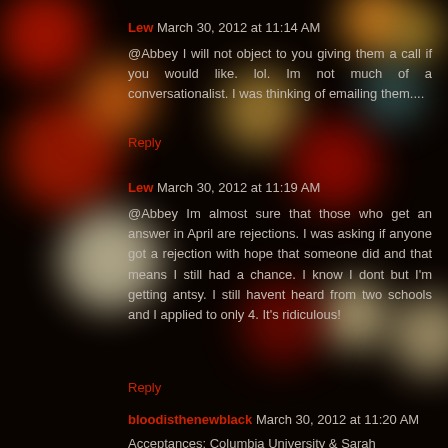[Figure (photo): Dark bokeh background with blurred colored circles (red, orange, white, teal) from out-of-focus lights]
Lew March 30, 2012 at 11:14 AM
@Abbey I will not object to you giving them a call if you would like. lol. Im not much of a conversationalist. I was thinking of emailing them....
Reply
Lew March 30, 2012 at 11:19 AM
@Abbey Im almost sure that those who get an answer in April are rejections. I was asking if anyone got a rejection with hope that someone did and that means I still had a chance. I know I dont but I'm getting antsy. I still havent heard from two schools and I applied to only 4. It's ridiculous!
Reply
bloodisthenewblack March 30, 2012 at 11:20 AM
Acceptances: Columbia University & Sarah Lawrence